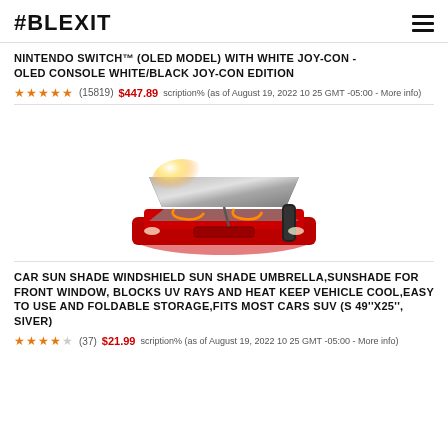#BLEXIT
NINTENDO SWITCH™ (OLED MODEL) WITH WHITE JOY-CON - OLED CONSOLE WHITE/BLACK JOY-CON EDITION
★★★★★ (15819) $447.89 scription% (as of August 19, 2022 10 25 GMT -05:00 - More info)
[Figure (photo): Car sun shade windshield umbrella shown open on a red car's windshield, with a carrying case beside it]
CAR SUN SHADE WINDSHIELD SUN SHADE UMBRELLA,SUNSHADE FOR FRONT WINDOW, BLOCKS UV RAYS AND HEAT KEEP VEHICLE COOL,EASY TO USE AND FOLDABLE STORAGE,FITS MOST CARS SUV (S 49''X25'', SIVER)
★★★★☆ (37) $21.99 scription% (as of August 19, 2022 10 25 GMT -05:00 - More info)